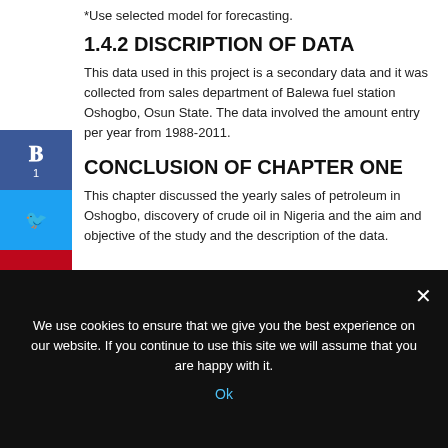*Use selected model for forecasting.
1.4.2 DISCRIPTION OF DATA
This data used in this project is a secondary data and it was collected from sales department of Balewa fuel station Oshogbo, Osun State. The data involved the amount entry per year from 1988-2011.
CONCLUSION OF CHAPTER ONE
This chapter discussed the yearly sales of petroleum in Oshogbo, discovery of crude oil in Nigeria and the aim and objective of the study and the description of the data.
We use cookies to ensure that we give you the best experience on our website. If you continue to use this site we will assume that you are happy with it.